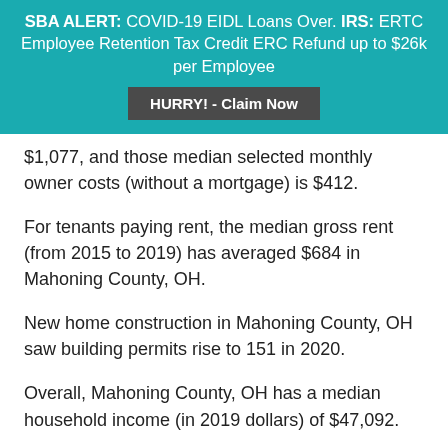SBA ALERT: COVID-19 EIDL Loans Over. IRS: ERTC Employee Retention Tax Credit ERC Refund up to $26k per Employee
HURRY! - Claim Now
$1,077, and those median selected monthly owner costs (without a mortgage) is $412.
For tenants paying rent, the median gross rent (from 2015 to 2019) has averaged $684 in Mahoning County, OH.
New home construction in Mahoning County, OH saw building permits rise to 151 in 2020.
Overall, Mahoning County, OH has a median household income (in 2019 dollars) of $47,092.